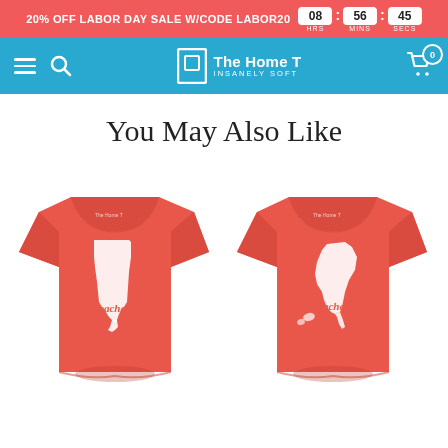20% OFF LABOR DAY SALE W/CODE LABOR20  08 : 56 : 45
[Figure (screenshot): The Home T website navigation bar with hamburger menu, search icon, logo, and cart icon on a blue background]
You May Also Like
[Figure (photo): Red t-shirt with white Alabama state outline and red 'teacher.' text]
[Figure (photo): Red t-shirt with white Alaska state outline and red 'teacher.' text]